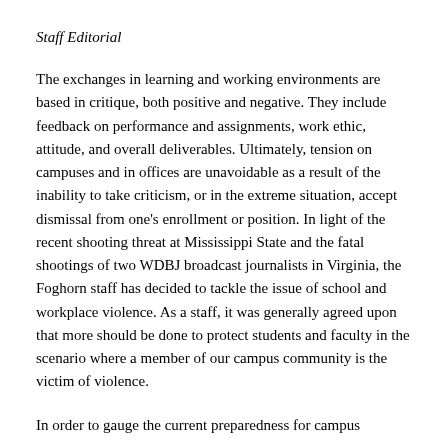Staff Editorial
The exchanges in learning and working environments are based in critique, both positive and negative. They include feedback on performance and assignments, work ethic, attitude, and overall deliverables. Ultimately, tension on campuses and in offices are unavoidable as a result of the inability to take criticism, or in the extreme situation, accept dismissal from one’s enrollment or position. In light of the recent shooting threat at Mississippi State and the fatal shootings of two WDBJ broadcast journalists in Virginia, the Foghorn staff has decided to tackle the issue of school and workplace violence. As a staff, it was generally agreed upon that more should be done to protect students and faculty in the scenario where a member of our campus community is the victim of violence.
In order to gauge the current preparedness for campus